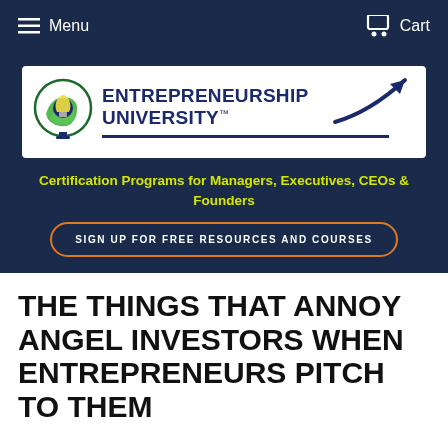Menu  Cart
[Figure (logo): Entrepreneurship University logo with circular icon featuring a lightbulb/globe motif, bold navy text reading ENTREPRENEURSHIP UNIVERSITY with TM mark, and a large upward-pointing arrow graphic on white background]
Certification Programs for Managers, Executives, CEOs & Founders
SIGN UP FOR FREE RESOURCES AND COURSES
THE THINGS THAT ANNOY ANGEL INVESTORS WHEN ENTREPRENEURS PITCH TO THEM